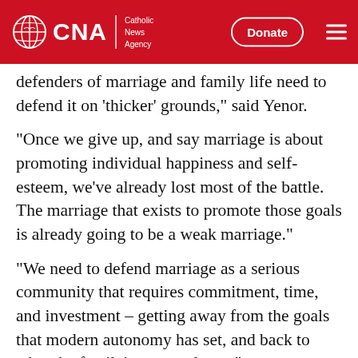CNA | Catholic News Agency
defenders of marriage and family life need to defend it on 'thicker' grounds," said Yenor.
“Once we give up, and say marriage is about promoting individual happiness and self-esteem, we've already lost most of the battle. The marriage that exists to promote those goals is already going to be a weak marriage.”
“We need to defend marriage as a serious community that requires commitment, time, and investment – getting away from the goals that modern autonomy has set, and back to what the family's true goals are.”